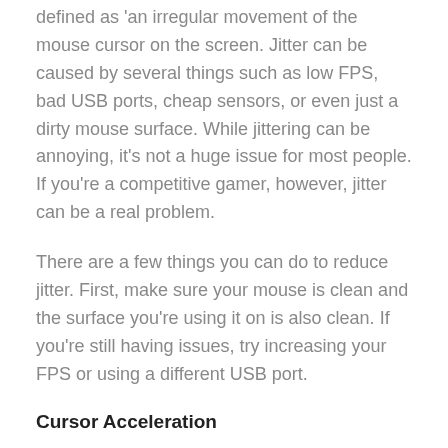defined as 'an irregular movement of the mouse cursor on the screen. Jitter can be caused by several things such as low FPS, bad USB ports, cheap sensors, or even just a dirty mouse surface. While jittering can be annoying, it's not a huge issue for most people. If you're a competitive gamer, however, jitter can be a real problem.
There are a few things you can do to reduce jitter. First, make sure your mouse is clean and the surface you're using it on is also clean. If you're still having issues, try increasing your FPS or using a different USB port.
Cursor Acceleration
Cursor Acceleration is another common issue with mice sensors. Acceleration is when the mouse cursor speeds up or slows down based on your movement. This can be caused by several things but is usually due to the mouse sensor trying to predict your movement.